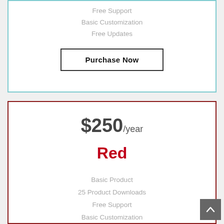Free Support
Basic Customization
Free Updates
Purchase Now
$250/year
Red
Basic Product
25 Product Downloads
Free Support
Basic Customization